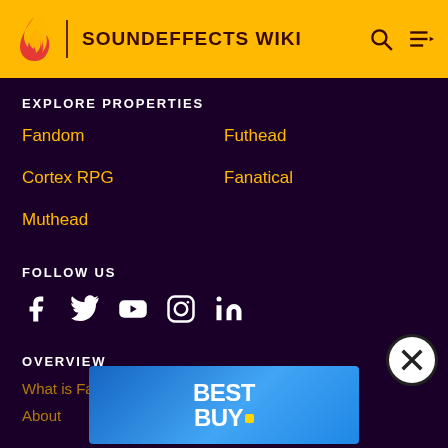SOUNDEFFECTS WIKI
EXPLORE PROPERTIES
Fandom
Futhead
Cortex RPG
Fanatical
Muthead
FOLLOW US
[Figure (other): Social media icons: Facebook, Twitter, YouTube, Instagram, LinkedIn]
OVERVIEW
What is Fandom?
Terms of Use
About
[Figure (other): Best Buy advertisement banner with blue gradient background and white Best Buy logo text with yellow dot]